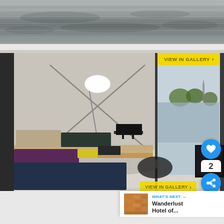[Figure (photo): Black and white water reflection / ripple surface photograph at top of page]
[Figure (other): Yellow 'VIEW IN GALLERY >' button overlaid on top image]
[Figure (photo): Interior photo of a modern houseboat room with colorful pallet furniture (navy, purple, dark green, tan cushions), X-pattern wall decoration, floor lamp, TV on stand, and large glass window with water view]
[Figure (other): Blue circular heart/favorite button (UI overlay)]
[Figure (other): Share bubble showing number 2 and blue share icon (UI overlay)]
[Figure (other): Yellow 'VIEW IN GALLERY >' button overlaid on bottom of main image]
[Figure (other): WHAT'S NEXT panel with thumbnail and text 'Wanderlust Hotel of...']